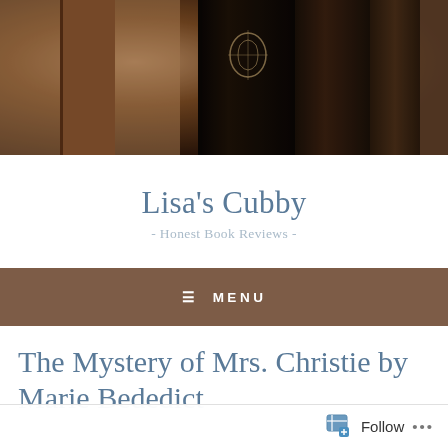[Figure (photo): Close-up photo of old dark leather-bound books on a shelf, blurred warm brown background]
Lisa's Cubby
- Honest Book Reviews -
≡ MENU
The Mystery of Mrs. Christie by Marie Bededict
Follow ...